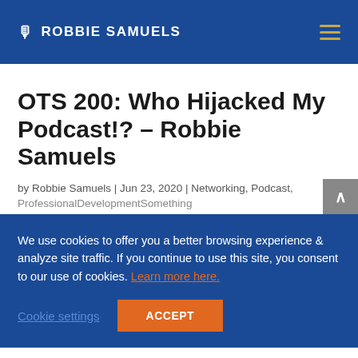🎙 ROBBIE SAMUELS
OTS 200: Who Hijacked My Podcast!? – Robbie Samuels
by Robbie Samuels | Jun 23, 2020 | Networking, Podcast,
ProfessionalDevelopmentSomething
We use cookies to offer you a better browsing experience & analyze site traffic. If you continue to use this site, you consent to our use of cookies. Learn more here.
Cookie settings   ACCEPT